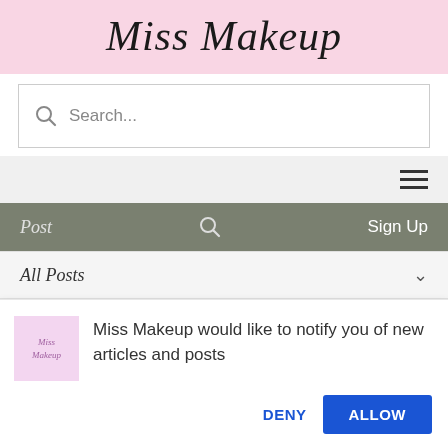Miss Makeup
[Figure (screenshot): Search bar with magnifying glass icon and placeholder text 'Search...']
[Figure (screenshot): Navigation bar with hamburger menu icon (three horizontal lines) on right]
[Figure (screenshot): Gray navigation strip with 'Post' on left, search icon in center, 'Sign Up' on right]
[Figure (screenshot): All Posts dropdown bar with chevron on right]
[Figure (screenshot): Browser notification popup: 'Miss Makeup would like to notify you of new articles and posts' with DENY and ALLOW buttons]